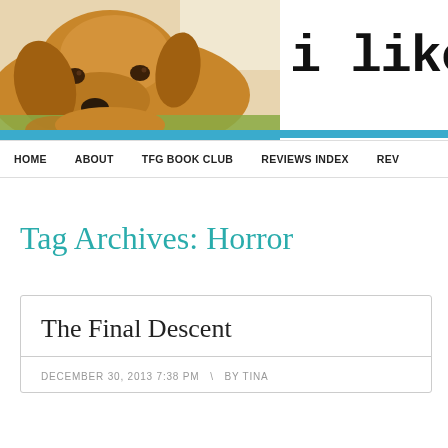[Figure (photo): Blog header banner with a golden retriever puppy resting its chin on a surface, and bold text 'i like it' on the right side, with a bright blue stripe below the image]
HOME  ABOUT  TFG BOOK CLUB  REVIEWS INDEX  REV
Tag Archives: Horror
The Final Descent
DECEMBER 30, 2013 7:38 PM  |  BY TINA